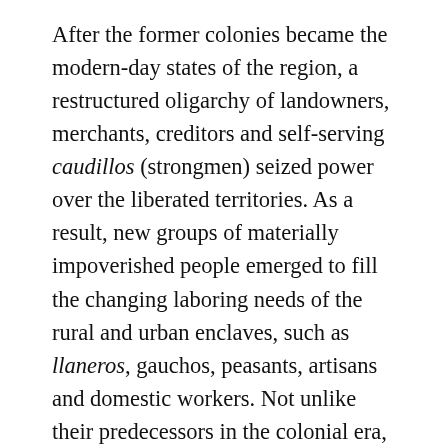After the former colonies became the modern-day states of the region, a restructured oligarchy of landowners, merchants, creditors and self-serving caudillos (strongmen) seized power over the liberated territories. As a result, new groups of materially impoverished people emerged to fill the changing laboring needs of the rural and urban enclaves, such as llaneros, gauchos, peasants, artisans and domestic workers. Not unlike their predecessors in the colonial era, they too received few of the social rewards available in the modernizing nations in which they lived. When their ability to eke out a living reached a breaking point, they reluctantly picked up whatever worldly possessions they had and migrated in search of better opportunities, their lives collectively tied to...